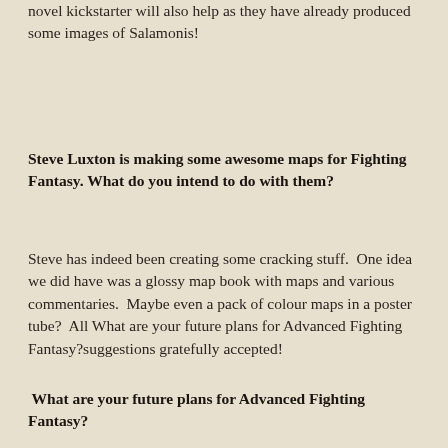novel kickstarter will also help as they have already produced some images of Salamonis!
Steve Luxton is making some awesome maps for Fighting Fantasy. What do you intend to do with them?
Steve has indeed been creating some cracking stuff.  One idea we did have was a glossy map book with maps and various commentaries.  Maybe even a pack of colour maps in a poster tube?  All What are your future plans for Advanced Fighting Fantasy?suggestions gratefully accepted!
What are your future plans for Advanced Fighting Fantasy?